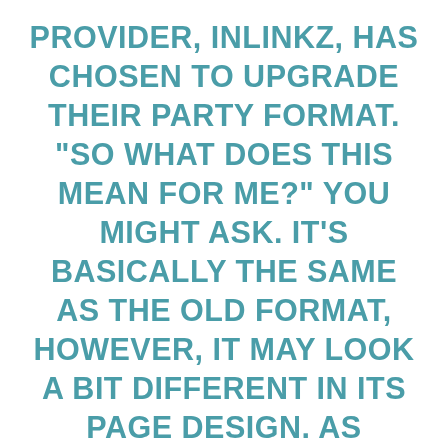PROVIDER, INLINKZ, HAS CHOSEN TO UPGRADE THEIR PARTY FORMAT. "SO WHAT DOES THIS MEAN FOR ME?" YOU MIGHT ASK. IT'S BASICALLY THE SAME AS THE OLD FORMAT, HOWEVER, IT MAY LOOK A BIT DIFFERENT IN ITS PAGE DESIGN. AS ALWAYS YOU WILL PROVIDE YOUR LINK, THE NAME OF YOUR LINK AND YOUR EMAIL ADDRESS ALONG WITH A PHOTO. IN THAT RESPECT IT'S NO DIFFERENT THAN WHAT YOU'VE